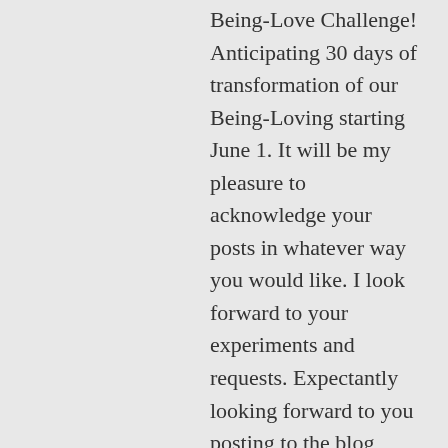Being-Love Challenge! Anticipating 30 days of transformation of our Being-Loving starting June 1. It will be my pleasure to acknowledge your posts in whatever way you would like. I look forward to your experiments and requests. Expectantly looking forward to you posting to the blog what the actions are that you will be doing for your daughter and for Vicki. Thank you so much for doing this too! Love Susie xx
★ Like
↳ Reply
Melisa on May 28, 2011 at 5:48 am
Hi ... to Melisa on June 30 Edit...